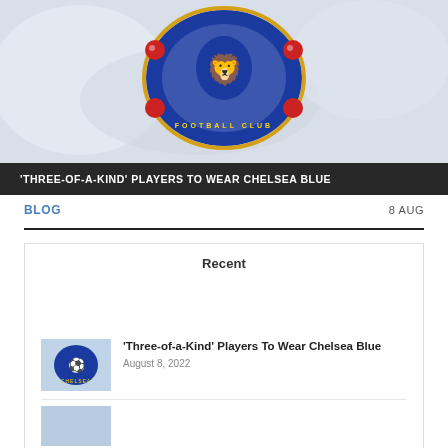[Figure (photo): Chelsea FC flag/crest close-up on white fabric background, showing the blue lion crest with red roses, gold border, and FOOTBALL CLUB text]
'THREE-OF-A-KIND' PLAYERS TO WEAR CHELSEA BLUE
BLOG
8 AUG
Recent
[Figure (photo): Small thumbnail of Chelsea FC flag/crest]
'Three-of-a-Kind' Players To Wear Chelsea Blue
August 8, 2022